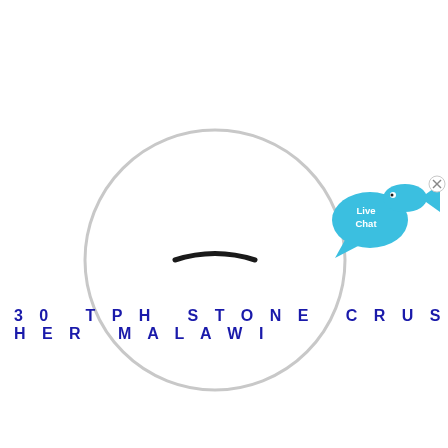[Figure (other): A loading spinner circle — mostly light gray with a short dark arc at the top, indicating a page loading state. Also a 'Live Chat' bubble with a blue fish icon and an 'x' close button in the upper right.]
30 TPH STONE CRUSHER MALAWI